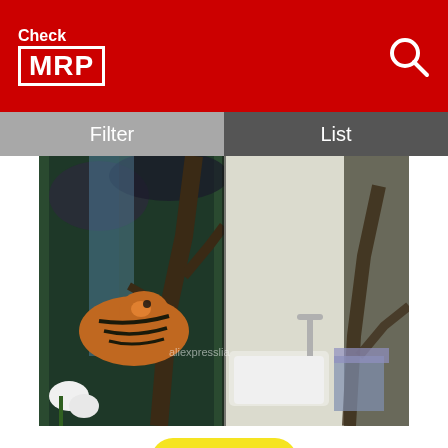[Figure (logo): Check MRP logo with red background, white text]
[Figure (photo): Tiger curtains product image showing tigers in waterfall forest scene with room setting]
Rs. 2236/-
Beautiful scenery waterfall tiget curtains 3d curtains new bay window balcony thickened windshield blackout curtains
Selling By: Aliexpress.com(In Stock)
Next